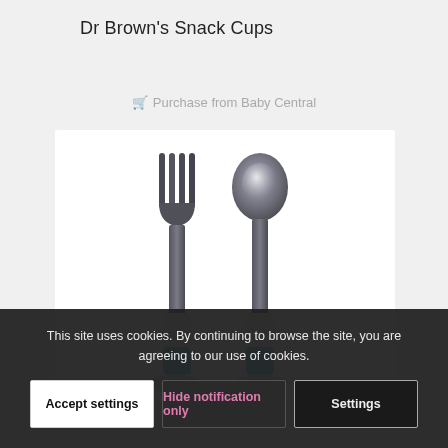Dr Brown's Snack Cups
Purchase from Baby Central
[Figure (photo): A fork and spoon set with metallic stainless steel heads and blue-tipped white handles, photographed on a white background.]
This site uses cookies. By continuing to browse the site, you are agreeing to our use of cookies.
Accept settings
Hide notification only
Settings